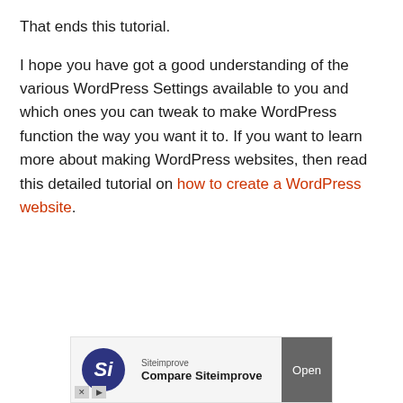That ends this tutorial.
I hope you have got a good understanding of the various WordPress Settings available to you and which ones you can tweak to make WordPress function the way you want it to. If you want to learn more about making WordPress websites, then read this detailed tutorial on how to create a WordPress website.
[Figure (screenshot): Advertisement banner for Siteimprove with logo, text 'Compare Siteimprove' and an 'Open' button]